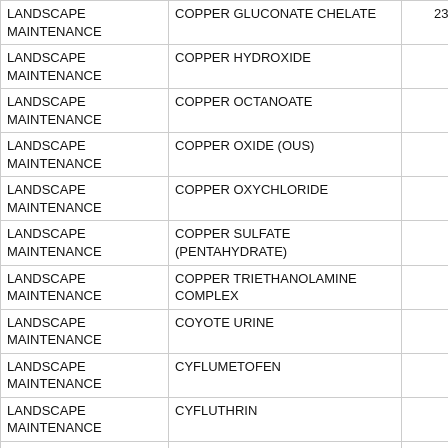| LANDSCAPE
MAINTENANCE | COPPER GLUCONATE CHELATE | 2383.43 |
| LANDSCAPE
MAINTENANCE | COPPER HYDROXIDE | 19.04 |
| LANDSCAPE
MAINTENANCE | COPPER OCTANOATE | 0 |
| LANDSCAPE
MAINTENANCE | COPPER OXIDE (OUS) | 0.29 |
| LANDSCAPE
MAINTENANCE | COPPER OXYCHLORIDE | 16.54 |
| LANDSCAPE
MAINTENANCE | COPPER SULFATE (PENTAHYDRATE) | 742.5 |
| LANDSCAPE
MAINTENANCE | COPPER TRIETHANOLAMINE COMPLEX | 7.57 |
| LANDSCAPE
MAINTENANCE | COYOTE URINE | 1.14 |
| LANDSCAPE
MAINTENANCE | CYFLUMETOFEN | 0.07 |
| LANDSCAPE
MAINTENANCE | CYFLUTHRIN | 0.02 |
| LANDSCAPE | BETA-CYFLUTHRIN |  |